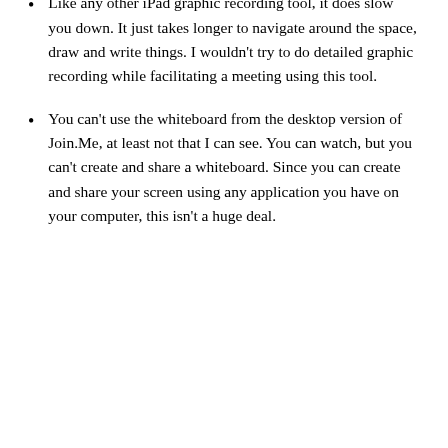PDF, or (game-changer alert!) native Join.Me format, so someone else can load it into their copy of Join.Me and continue working on it. I'm a big fan of any iPad app that lets you move your content around. BIG fan.
Like any other iPad graphic recording tool, it does slow you down. It just takes longer to navigate around the space, draw and write things. I wouldn't try to do detailed graphic recording while facilitating a meeting using this tool.
You can't use the whiteboard from the desktop version of Join.Me, at least not that I can see. You can watch, but you can't create and share a whiteboard. Since you can create and share your screen using any application you have on your computer, this isn't a huge deal.